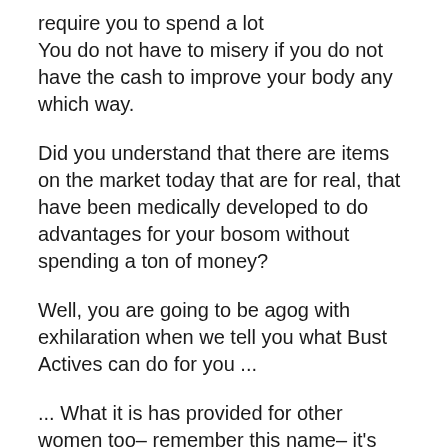require you to spend a lot You do not have to misery if you do not have the cash to improve your body any which way.
Did you understand that there are items on the market today that are for real, that have been medically developed to do advantages for your bosom without spending a ton of money?
Well, you are going to be agog with exhilaration when we tell you what Bust Actives can do for you ...
... What it is has provided for other women too– remember this name– it's called Bust Actives